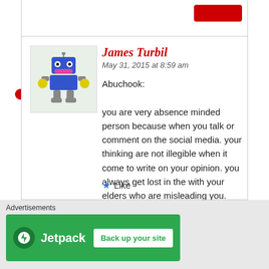[Figure (illustration): Blue cartoon robot avatar with yellow hands and pink bow]
James Turbil
May 31, 2015 at 8:59 am
Abuchook:

you are very absence minded person because when you talk or comment on the social media. your thinking are not illegible when it come to write on your opinion. you always get lost in the with your elders who are misleading you.
★ Like
Advertisements
[Figure (logo): Jetpack plugin advertisement banner with green background, Jetpack logo, and 'Back up your site' button]